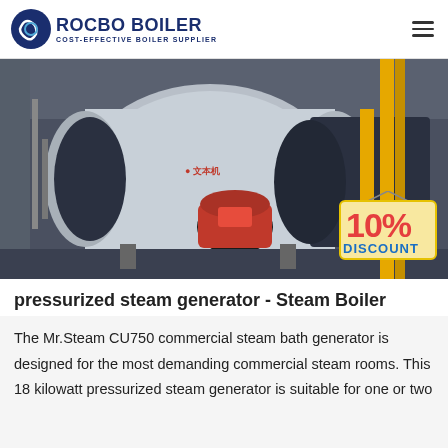ROCBO BOILER - COST-EFFECTIVE BOILER SUPPLIER
[Figure (photo): Industrial steam boiler with red burner assembly and 10% DISCOUNT badge overlay, yellow pipes visible on right side]
pressurized steam generator - Steam Boiler
The Mr.Steam CU750 commercial steam bath generator is designed for the most demanding commercial steam rooms. This 18 kilowatt pressurized steam generator is suitable for one or two